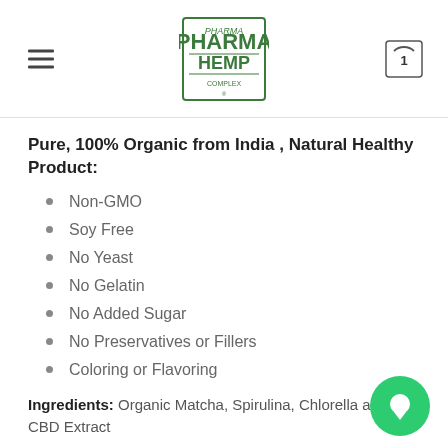Pharma Hemp — navigation header with logo and cart
Pure, 100% Organic from India , Natural Healthy Product:
Non-GMO
Soy Free
No Yeast
No Gelatin
No Added Sugar
No Preservatives or Fillers
Coloring or Flavoring
Ingredients: Organic Matcha, Spirulina, Chlorella and CBD Extract